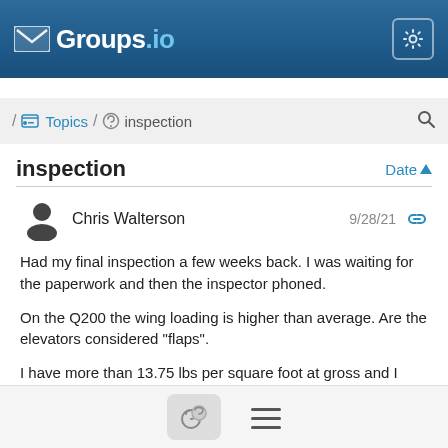Groups.io
/ Topics / inspection
inspection
9/28/21
Chris Walterson
Had my final inspection a few weeks back. I was waiting for the paperwork and then the inspector phoned.
On the Q200 the wing loading is higher than average.  Are the elevators considered "flaps".
I have more than 13.75 lbs per square foot at gross and I would need a High performance rating to fly it, unless I can consider the